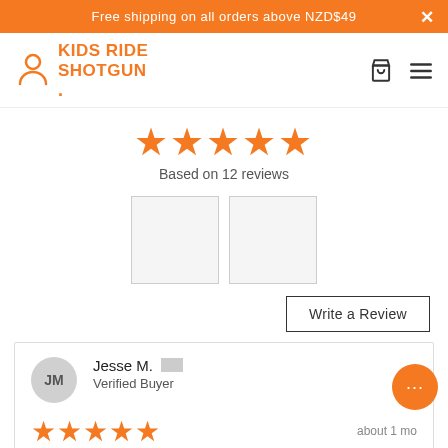Free shipping on all orders above NZD$49
[Figure (logo): Kids Ride Shotgun logo with person icon and orange text]
[Figure (infographic): 5 orange stars rating display, Based on 12 reviews]
Based on 12 reviews
[Figure (photo): Two photo thumbnail placeholders side by side]
Write a Review
Jesse M. Verified Buyer
about 1 mo
[Figure (infographic): 5 orange stars rating for review]
AWESOME FOR THE YOUNG ONES